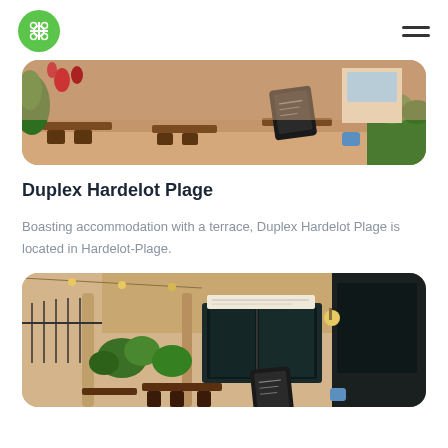Logo and navigation header
[Figure (photo): Outdoor cafe terrace with tables, chairs, plants and a chalkboard menu sign]
Duplex Hardelot Plage
Boasting accommodation with a terrace, Duplex Hardelot Plage is located in Hardelot-Plage.
[Figure (photo): Street-level view of a European cafe with terrace seating, plants, and storefront with dark window frames]